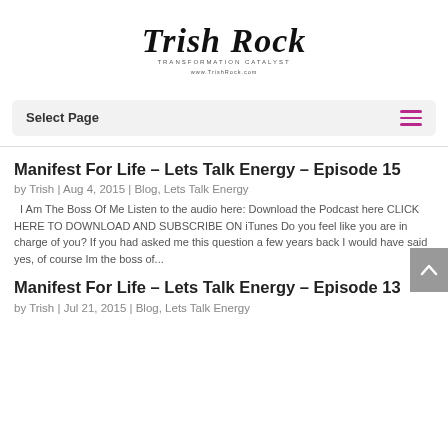[Figure (logo): Trish Rock – Transformation Catalyst, www.TrishRock.com handwritten-style logo]
Select Page
Manifest For Life – Lets Talk Energy – Episode 15
by Trish | Aug 4, 2015 | Blog, Lets Talk Energy
I Am The Boss Of Me Listen to the audio here: Download the Podcast here CLICK HERE TO DOWNLOAD AND SUBSCRIBE ON iTunes Do you feel like you are in charge of you? If you had asked me this question a few years back I would have said yes, of course Im the boss of...
Manifest For Life – Lets Talk Energy – Episode 13
by Trish | Jul 21, 2015 | Blog, Lets Talk Energy